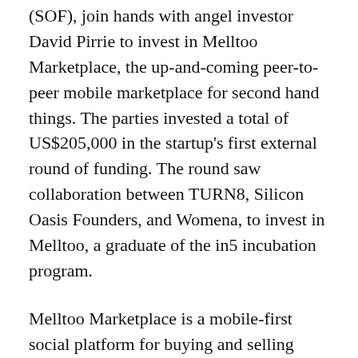(SOF), join hands with angel investor David Pirrie to invest in Melltoo Marketplace, the up-and-coming peer-to-peer mobile marketplace for second hand things. The parties invested a total of US$205,000 in the startup's first external round of funding. The round saw collaboration between TURN8, Silicon Oasis Founders, and Womena, to invest in Melltoo, a graduate of the in5 incubation program.
Melltoo Marketplace is a mobile-first social platform for buying and selling second hand things. The startup addresses the problem of trust in the marketplace through the power of social interactions in a mobile app. In-app payment and delivery services will launch in June 2015. This will allow users to buy and sell their things without having to meet the other party. Melltoo will provide a money-back guarantee for both buyers and sellers in every transaction that takes place via the app.